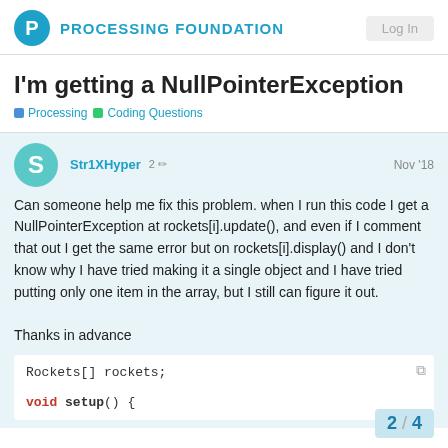PROCESSING FOUNDATION
I'm getting a NullPointerException
Processing   Coding Questions
Str1XHyper  2  Nov '18
Can someone help me fix this problem. when I run this code I get a NullPointerException at rockets[i].update(), and even if I comment that out I get the same error but on rockets[i].display() and I don't know why I have tried making it a single object and I have tried putting only one item in the array, but I still can figure it out.

Thanks in advance
Rockets[] rockets;

void setup() {